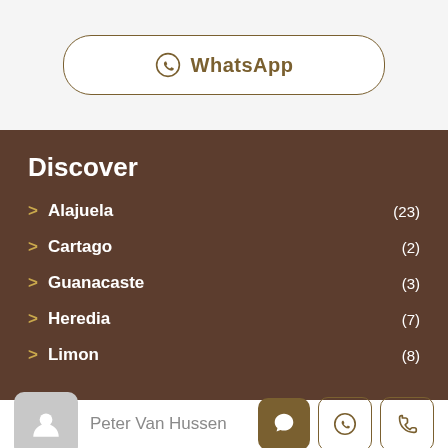[Figure (screenshot): WhatsApp button with logo and text]
Discover
Alajuela (23)
Cartago (2)
Guanacaste (3)
Heredia (7)
Limon (8)
Peter Van Hussen